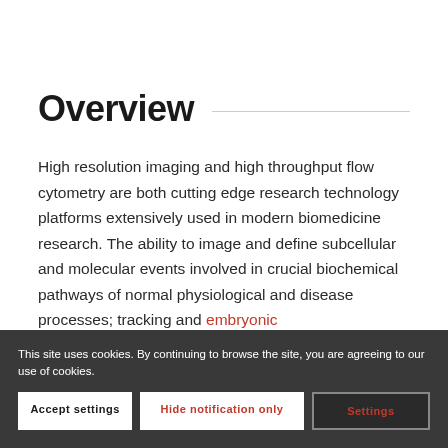Overview
High resolution imaging and high throughput flow cytometry are both cutting edge research technology platforms extensively used in modern biomedicine research. The ability to image and define subcellular and molecular events involved in crucial biochemical pathways of normal physiological and disease processes; tracking embryonic ... ission: ... of
This site uses cookies. By continuing to browse the site, you are agreeing to our use of cookies.